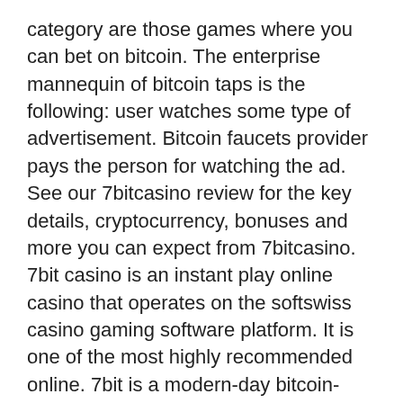category are those games where you can bet on bitcoin. The enterprise mannequin of bitcoin taps is the following: user watches some type of advertisement. Bitcoin faucets provider pays the person for watching the ad. See our 7bitcasino review for the key details, cryptocurrency, bonuses and more you can expect from 7bitcasino. 7bit casino is an instant play online casino that operates on the softswiss casino gaming software platform. It is one of the most highly recommended online. 7bit is a modern-day bitcoin-accepting casino launched in 2015. Established under the curacao egaming fraternity, the site convinces offering 200 free spins
List of top online casinos rated according to security, history, loyalty program or promotions, 7bit bitcoin casino.
Confirm a cashout method for your jurisdiction. Live Chat: 24/7 Tel. Best Played